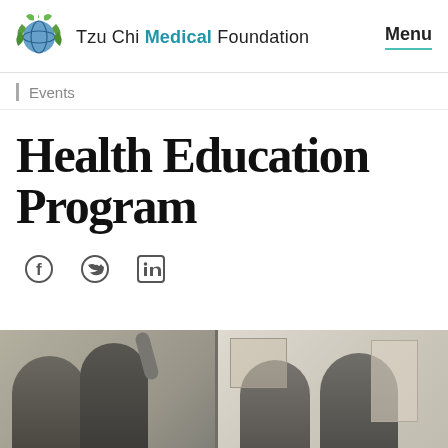Tzu Chi Medical Foundation  Menu
Events
Health Education Program
[Figure (photo): Group of people in a classroom or seminar setting, one person raising their hand or holding something up, others seated, room with windows and wall art visible.]